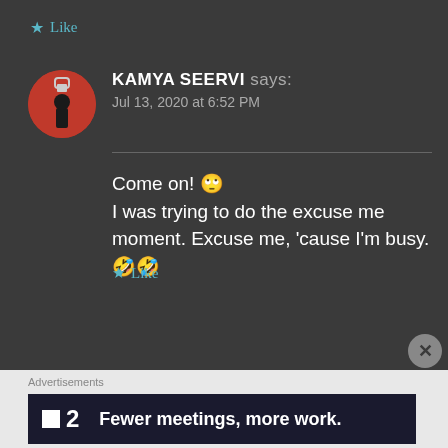★ Like
KAMYA SEERVI says:
Jul 13, 2020 at 6:52 PM
Come on! 🙄
I was trying to do the excuse me moment. Excuse me, 'cause I'm busy. 🤣🤣
★ Like
Advertisements
■2  Fewer meetings, more work.